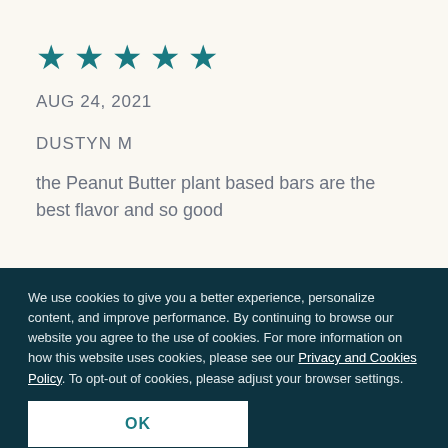[Figure (other): Five teal/dark-cyan star rating icons displayed in a row]
AUG 24, 2021
DUSTYN M
the Peanut Butter plant based bars are the best flavor and so good
We use cookies to give you a better experience, personalize content, and improve performance. By continuing to browse our website you agree to the use of cookies. For more information on how this website uses cookies, please see our Privacy and Cookies Policy. To opt-out of cookies, please adjust your browser settings.
OK